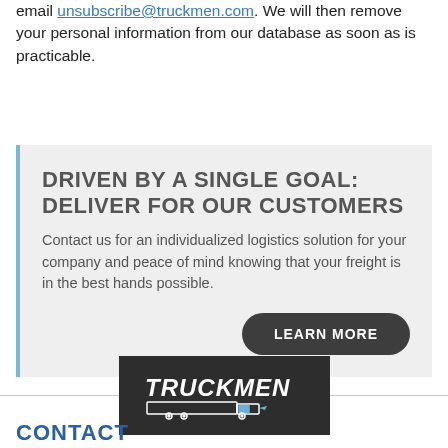email unsubscribe@truckmen.com. We will then remove your personal information from our database as soon as is practicable.
DRIVEN BY A SINGLE GOAL: DELIVER FOR OUR CUSTOMERS
Contact us for an individualized logistics solution for your company and peace of mind knowing that your freight is in the best hands possible.
LEARN MORE
[Figure (logo): Truckmen logo in white text on dark background with truck icon]
CONTACT